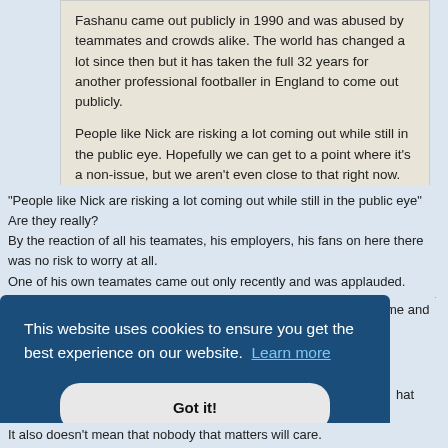Fashanu came out publicly in 1990 and was abused by teammates and crowds alike. The world has changed a lot since then but it has taken the full 32 years for another professional footballer in England to come out publicly.

People like Nick are risking a lot coming out while still in the public eye. Hopefully we can get to a point where it's a non-issue, but we aren't even close to that right now.
"People like Nick are risking a lot coming out while still in the public eye" Are they really?
By the reaction of all his teamates, his employers, his fans on here there was no risk to worry at all.
One of his own teamates came out only recently and was applauded.
He got the same reaction the likes of Nigel Owens and Gareth Thomas got years ago.
me and
hat
It also doesn't mean that nobody that matters will care.
[Figure (screenshot): Cookie consent overlay banner with dark blue background. Text reads: 'This website uses cookies to ensure you get the best experience on our website. Learn more' with a 'Got it!' button below.]